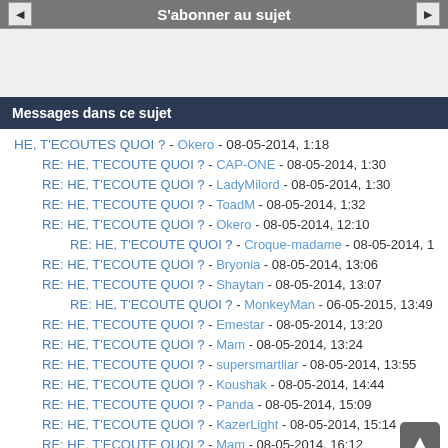S'abonner au sujet
Messages dans ce sujet
HE, T'ECOUTES QUOI ? - Okero - 08-05-2014, 1:18
RE: HE, T'ECOUTE QUOI ? - CAP-ONE - 08-05-2014, 1:30
RE: HE, T'ECOUTE QUOI ? - LadyMilord - 08-05-2014, 1:30
RE: HE, T'ECOUTE QUOI ? - ToadM - 08-05-2014, 1:32
RE: HE, T'ECOUTE QUOI ? - Okero - 08-05-2014, 12:10
RE: HE, T'ECOUTE QUOI ? - Croque-madame - 08-05-2014, 12:31
RE: HE, T'ECOUTE QUOI ? - Bryonia - 08-05-2014, 13:06
RE: HE, T'ECOUTE QUOI ? - Shaytan - 08-05-2014, 13:07
RE: HE, T'ECOUTE QUOI ? - MonkeyMan - 06-05-2015, 13:49
RE: HE, T'ECOUTE QUOI ? - Emestar - 08-05-2014, 13:20
RE: HE, T'ECOUTE QUOI ? - Mam - 08-05-2014, 13:24
RE: HE, T'ECOUTE QUOI ? - supersmartliar - 08-05-2014, 13:55
RE: HE, T'ECOUTE QUOI ? - Koushak - 08-05-2014, 14:44
RE: HE, T'ECOUTE QUOI ? - Panda - 08-05-2014, 15:09
RE: HE, T'ECOUTE QUOI ? - KazerLight - 08-05-2014, 15:14
RE: HE, T'ECOUTE QUOI ? - Mam - 08-05-2014, 16:12